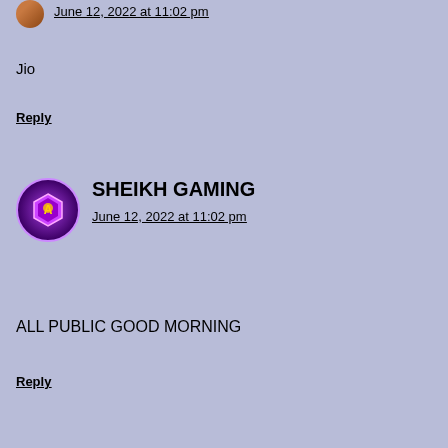June 12, 2022 at 11:02 pm
Jio
Reply
[Figure (photo): Round avatar with gaming character - purple/magenta themed with shield logo]
SHEIKH GAMING
June 12, 2022 at 11:02 pm
ALL PUBLIC GOOD MORNING
Reply